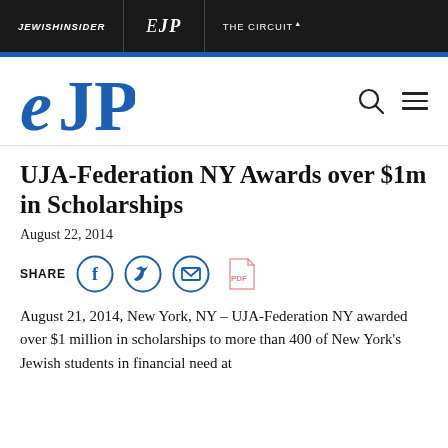JEWISHINSIDER | eJP | THE CIRCUIT•
[Figure (logo): eJP logo in blue serif italic font]
UJA-Federation NY Awards over $1m in Scholarships
August 22, 2014
SHARE [Facebook] [Twitter] [Email] [PDF]
August 21, 2014, New York, NY – UJA-Federation NY awarded over $1 million in scholarships to more than 400 of New York's Jewish students in financial need at